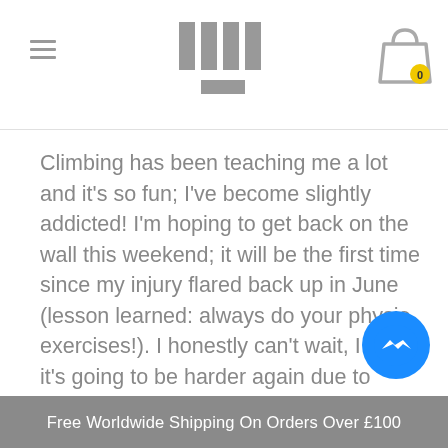[Figure (logo): Website logo consisting of four vertical bar shapes arranged in a grid pattern with a horizontal bar below, in gray]
[Figure (illustration): Shopping cart icon with a yellow badge showing the number 0]
Climbing has been teaching me a lot and it's so fun; I've become slightly addicted! I'm hoping to get back on the wall this weekend; it will be the first time since my injury flared back up in June (lesson learned: always do your physio exercises!). I honestly can't wait, I know it's going to be harder again due to fitness but the teachings still remain and that's going to give me so many new opportunities on the wall and in my outdoor adventures; maybe it'll soon be time to try climbing outside!
[Figure (illustration): Facebook Messenger chat bubble icon — blue circle with white lightning bolt/chat symbol]
Free Worldwide Shipping On Orders Over £100